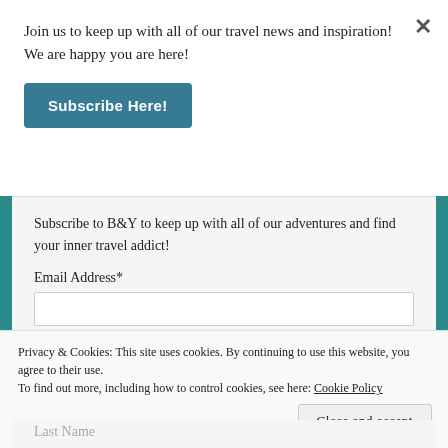Join us to keep up with all of our travel news and inspiration! We are happy you are here!
Subscribe Here!
Subscribe to B&Y to keep up with all of our adventures and find your inner travel addict!
Email Address*
Privacy & Cookies: This site uses cookies. By continuing to use this website, you agree to their use.
To find out more, including how to control cookies, see here: Cookie Policy
Close and accept
Last Name